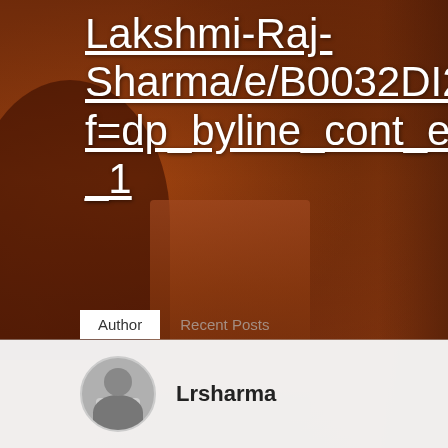Lakshmi-Raj-Sharma/e/B0032DI2CK/ref=dp_byline_cont_ebooks_1
[Figure (photo): Background photo of a red sandstone Indian architectural monument, likely a Mughal-era structure, showing carved arches, columns with ornate decorations, and lattice stonework in warm orange-brown tones.]
Author
Recent Posts
Lrsharma